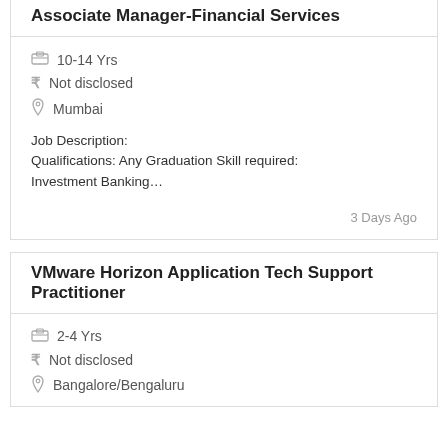Associate Manager-Financial Services
10-14 Yrs
Not disclosed
Mumbai
Job Description:
Qualifications: Any Graduation Skill required: Investment Banking…
3 Days Ago
VMware Horizon Application Tech Support Practitioner
2-4 Yrs
Not disclosed
Bangalore/Bengaluru